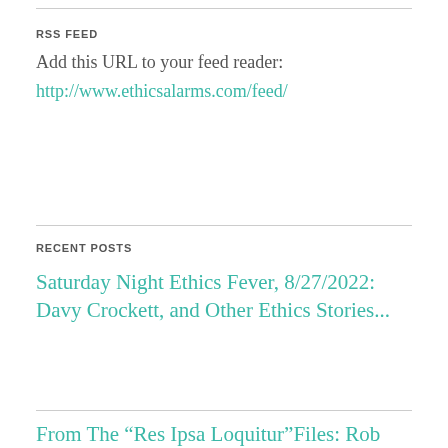RSS FEED
Add this URL to your feed reader:
http://www.ethicsalarms.com/feed/
RECENT POSTS
Saturday Night Ethics Fever, 8/27/2022: Davy Crockett, and Other Ethics Stories...
From The “Res Ipsa Loquitur”Files: Rob